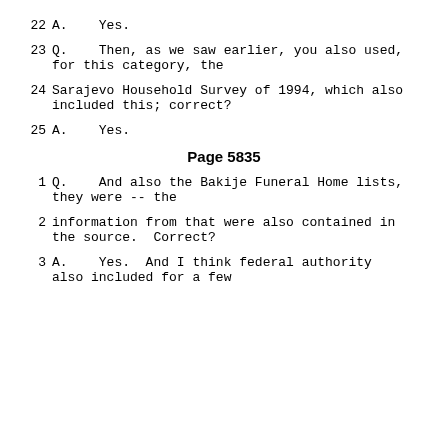22    A.    Yes.
23    Q.    Then, as we saw earlier, you also used, for this category, the
24    Sarajevo Household Survey of 1994, which also included this; correct?
25    A.    Yes.
Page 5835
1    Q.    And also the Bakije Funeral Home lists, they were -- the
2    information from that were also contained in the source.  Correct?
3    A.    Yes.  And I think federal authority also included for a few